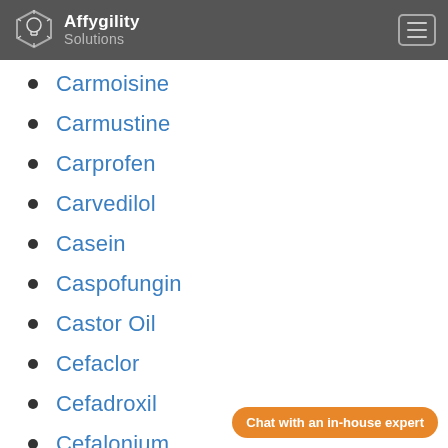Affygility Solutions
Carmoisine
Carmustine
Carprofen
Carvedilol
Casein
Caspofungin
Castor Oil
Cefaclor
Cefadroxil
Cefalonium
Cefapirin
Chat with an in-house expert